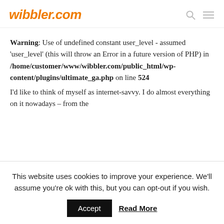wibbler.com
Warning: Use of undefined constant user_level - assumed 'user_level' (this will throw an Error in a future version of PHP) in /home/customer/www/wibbler.com/public_html/wp-content/plugins/ultimate_ga.php on line 524
I'd like to think of myself as internet-savvy. I do almost everything on it nowadays – from the
This website uses cookies to improve your experience. We'll assume you're ok with this, but you can opt-out if you wish.
Accept   Read More